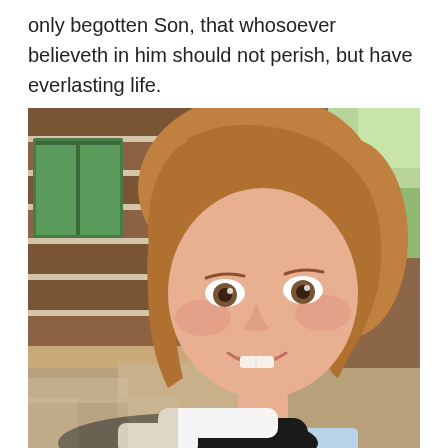only begotten Son, that whosoever believeth in him should not perish, but have everlasting life.
[Figure (photo): A young girl with long reddish-brown wavy hair smiling at the camera. She is in front of a rustic log cabin wall. A black and white animal (partially visible) is in the foreground at the bottom.]